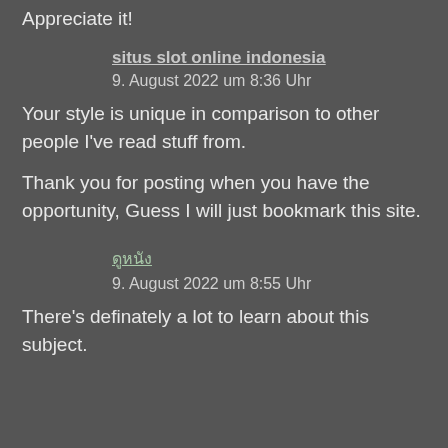Appreciate it!
situs slot online indonesia
9. August 2022 um 8:36 Uhr
Your style is unique in comparison to other people I've read stuff from.
Thank you for posting when you have the opportunity, Guess I will just bookmark this site.
ดูหนัง
9. August 2022 um 8:55 Uhr
There's definately a lot to learn about this subject.